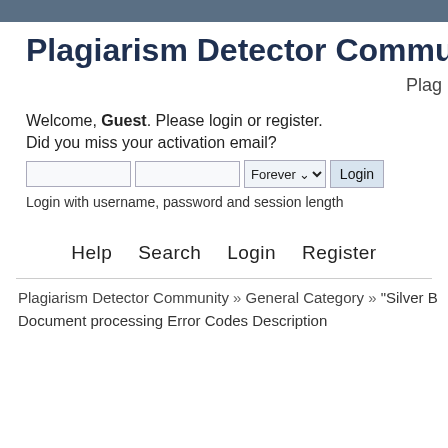Plagiarism Detector Commun
Plag
Welcome, Guest. Please login or register.
Did you miss your activation email?
Login with username, password and session length
Help   Search   Login   Register
Plagiarism Detector Community » General Category » "Silver B
Document processing Error Codes Description